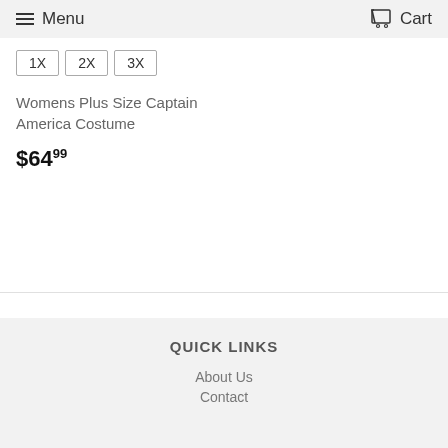Menu  Cart
1X
2X
3X
Womens Plus Size Captain America Costume
$64.99
QUICK LINKS
About Us
Contact